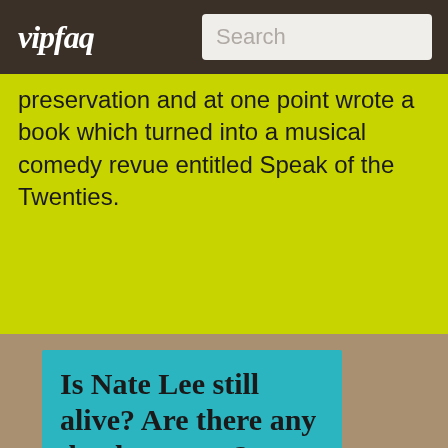vipfaq | Search
preservation and at one point wrote a book which turned into a musical comedy revue entitled Speak of the Twenties.
Is Nate Lee still alive? Are there any death rumors?
Yes, as far as we know, Nate Lee is still alive. We don't have any current information about Nate Lee's health. However, being younger than 50, we hope that everything is ok.